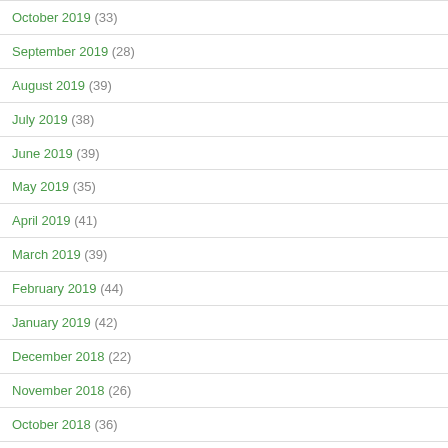October 2019 (33)
September 2019 (28)
August 2019 (39)
July 2019 (38)
June 2019 (39)
May 2019 (35)
April 2019 (41)
March 2019 (39)
February 2019 (44)
January 2019 (42)
December 2018 (22)
November 2018 (26)
October 2018 (36)